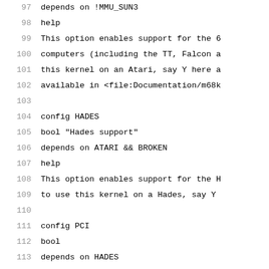97	depends on !MMU_SUN3
98	help
99		This option enables support for the 6
100		computers (including the TT, Falcon a
101		this kernel on an Atari, say Y here a
102		available in <file:Documentation/m68k
103
104	config HADES
105		bool "Hades support"
106		depends on ATARI && BROKEN
107		help
108			This option enables support for the H
109			to use this kernel on a Hades, say Y 
110
111	config PCI
112		bool
113		depends on HADES
114		default y
115		help
116			Find out whether you have a PCI mothe
117			bus system, i.e. the way the CPU talks